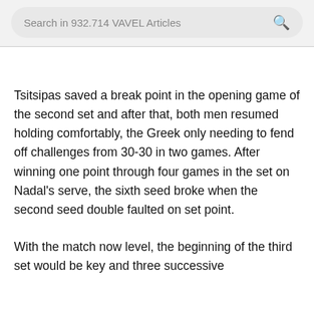Search in 932.714 VAVEL Articles
Tsitsipas saved a break point in the opening game of the second set and after that, both men resumed holding comfortably, the Greek only needing to fend off challenges from 30-30 in two games. After winning one point through four games in the set on Nadal's serve, the sixth seed broke when the second seed double faulted on set point.
With the match now level, the beginning of the third set would be key and three successive